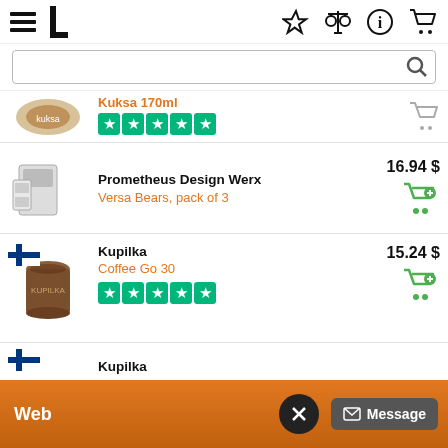[Figure (screenshot): Mobile e-commerce app interface showing navigation bar with hamburger menu, L logo, star, compare, info, and cart icons]
[Figure (screenshot): Search bar with magnifying glass icon]
[Figure (screenshot): Partial product listing: Kuksa 170ml with 5-star Trustpilot rating and cart icon]
Prometheus Design Werx
Versa Bears, pack of 3
16.94 $
Kupilka
Coffee Go 30
15.24 $
Kupilka
Web
Message